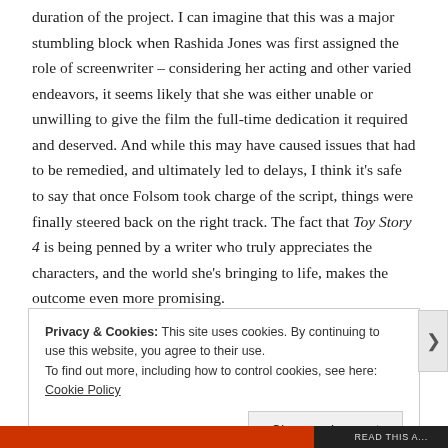duration of the project.  I can imagine that this was a major stumbling block when Rashida Jones was first assigned the role of screenwriter – considering her acting and other varied endeavors, it seems likely that she was either unable or unwilling to give the film the full-time dedication it required and deserved.  And while this may have caused issues that had to be remedied, and ultimately led to delays, I think it's safe to say that once Folsom took charge of the script, things were finally steered back on the right track.  The fact that Toy Story 4 is being penned by a writer who truly appreciates the characters, and the world she's bringing to life, makes the outcome even more promising.
Privacy & Cookies: This site uses cookies. By continuing to use this website, you agree to their use.
To find out more, including how to control cookies, see here: Cookie Policy
Close and accept